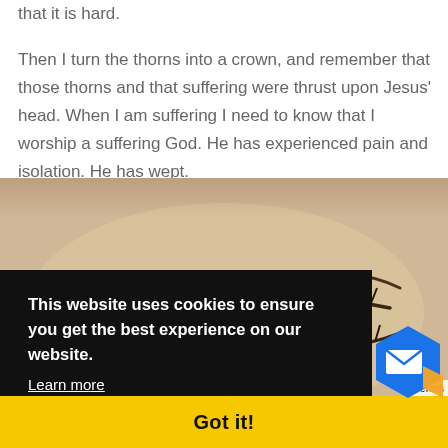that it is hard.

Then I turn the thorns into a crown, and remember that those thorns and that suffering were thrust upon Jesus' head. When I am suffering I need to know that I worship a suffering God. He has experienced pain and isolation. He has wept.
[Figure (photo): A photograph of a hand-drawn crown of thorns illustration on paper, with dark sketched thorny branches forming a circular crown shape.]
This website uses cookies to ensure you get the best experience on our website.
Learn more
Got it!
- Terms